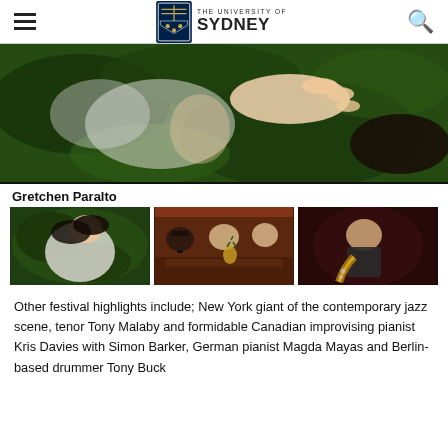THE UNIVERSITY OF SYDNEY
[Figure (photo): Overhead view of a person lying on grass, hand raised near face]
Gretchen Paralto
[Figure (photo): Three small photos: woman lying on grass; jazz band in a bar; man with saxophone]
Other festival highlights include; New York giant of the contemporary jazz scene, tenor Tony Malaby and formidable Canadian improvising pianist Kris Davies with Simon Barker, German pianist Magda Mayas and Berlin-based drummer Tony Buck